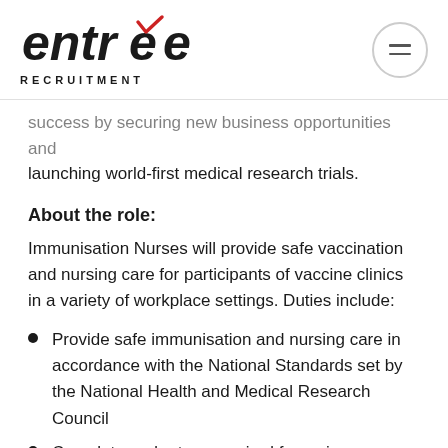[Figure (logo): Entrée Recruitment logo with red checkmark accent and hamburger menu icon in circle]
success by securing new business opportunities and launching world-first medical research trials.
About the role:
Immunisation Nurses will provide safe vaccination and nursing care for participants of vaccine clinics in a variety of workplace settings. Duties include:
Provide safe immunisation and nursing care in accordance with the National Standards set by the National Health and Medical Research Council
Complete and return required forms in